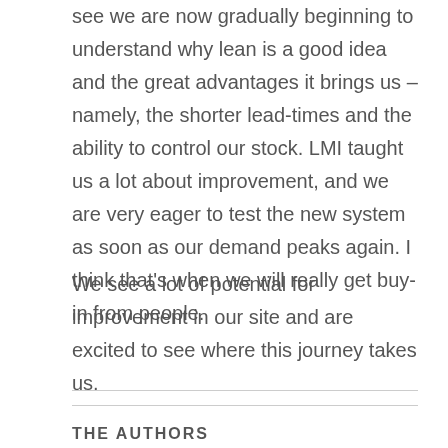see we are now gradually beginning to understand why lean is a good idea and the great advantages it brings us – namely, the shorter lead-times and the ability to control our stock. LMI taught us a lot about improvement, and we are very eager to test the new system as soon as our demand peaks again. I think that's when we will really get buy-in from people.
We see a lot of potential for improvement in our site and are excited to see where this journey takes us.
THE AUTHORS